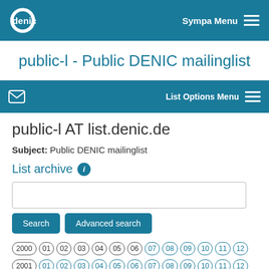Sympa Menu
public-l - Public DENIC mailinglist
List Options Menu
public-l AT list.denic.de
Subject: Public DENIC mailinglist
List archive
Search | Advanced search
2000 01 02 03 04 05 06 07 08 09 10 11 12
2001 01 02 03 04 05 06 07 08 09 10 11 12